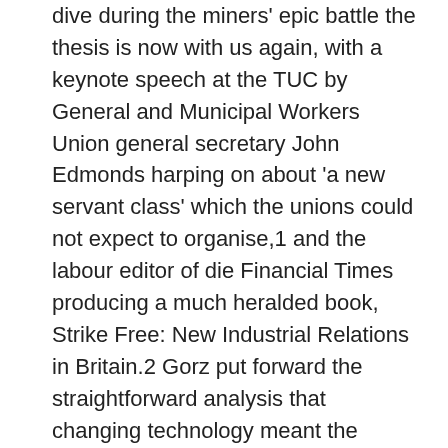dive during the miners' epic battle the thesis is now with us again, with a keynote speech at the TUC by General and Municipal Workers Union general secretary John Edmonds harping on about 'a new servant class' which the unions could not expect to organise,1 and the labour editor of die Financial Times producing a much heralded book, Strike Free: New Indus¬trial Relations in Britain.2 Gorz put forward the straightforward analysis that changing technology meant the working class was finished. Hobsbawm was usually more circumspect, even admitting on occasion that the majority of people were still 'employed for wages/salaries'.3 But his most popular argument for Labour politicians was that which held that 'the manual working-class core of the traditional socialist labour parties is contracting and not expanding . . .' and that this could only be countered by